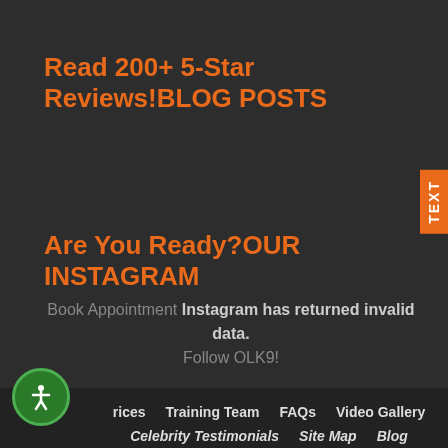Read 200+ 5-Star Reviews!BLOG POSTS
Are You Ready?OUR INSTAGRAM
Book Appointment Instagram has returned invalid data. Follow OLK9!
Prices   Training Team   FAQs   Video Gallery   Celebrity Testimonials   Site Map   Blog